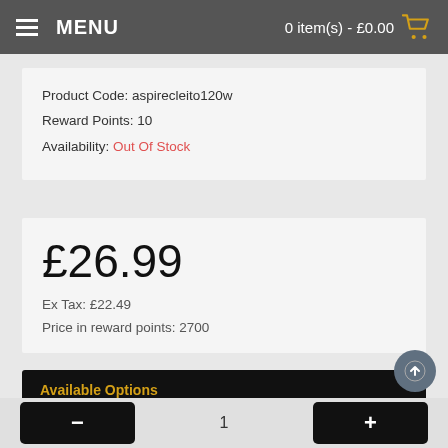MENU   0 item(s) - £0.00
Product Code: aspirecleito120w
Reward Points: 10
Availability: Out Of Stock
£26.99
Ex Tax: £22.49
Price in reward points: 2700
Available Options
* Aspire Cleito 120w Colour
--- Please Select ---
- 1 +